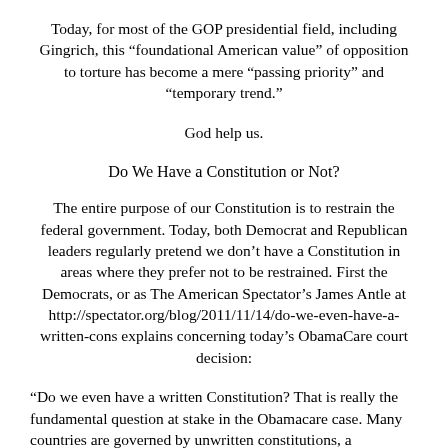Today, for most of the GOP presidential field, including Gingrich, this “foundational American value” of opposition to torture has become a mere “passing priority” and “temporary trend.”
God help us.
Do We Have a Constitution or Not?
The entire purpose of our Constitution is to restrain the federal government. Today, both Democrat and Republican leaders regularly pretend we don’t have a Constitution in areas where they prefer not to be restrained. First the Democrats, or as The American Spectator’s James Antle at http://spectator.org/blog/2011/11/14/do-we-even-have-a-written-cons explains concerning today’s ObamaCare court decision:
“Do we even have a written Constitution? That is really the fundamental question at stake in the Obamacare case. Many countries are governed by unwritten constitutions, a patchwork of court decisions, legal and political precedents, laws, and customs that shape the boundaries of government rather than any single document. Over the past eighty years, the United States has increasingly moved to that system as